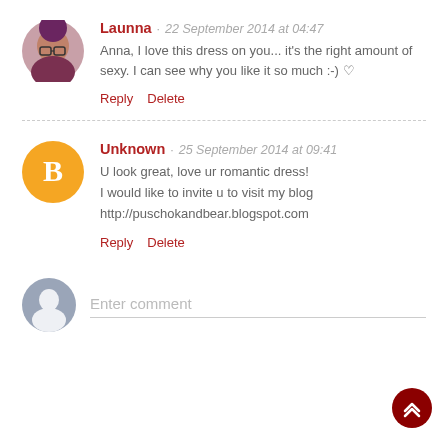[Figure (photo): Circular avatar of Launna, a woman with purple/red hair and glasses]
Launna · 22 September 2014 at 04:47
Anna, I love this dress on you... it's the right amount of sexy. I can see why you like it so much :-) ♡
Reply   Delete
[Figure (logo): Circular orange Blogger 'B' logo avatar for Unknown user]
Unknown · 25 September 2014 at 09:41
U look great, love ur romantic dress!
I would like to invite u to visit my blog
http://puschokandbear.blogspot.com
Reply   Delete
Enter comment
[Figure (illustration): Dark red circular scroll-to-top button with double chevron up arrow]